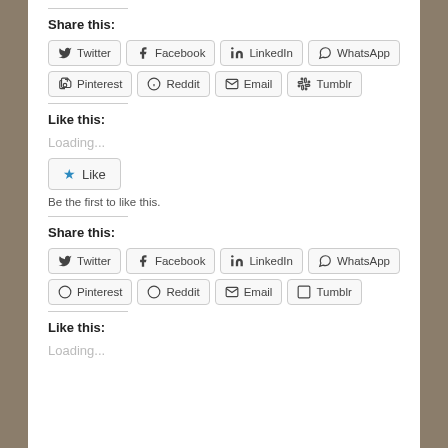Share this:
Twitter  Facebook  LinkedIn  WhatsApp
Pinterest  Reddit  Email  Tumblr
Like this:
Loading...
Like
Be the first to like this.
Share this:
Twitter  Facebook  LinkedIn  WhatsApp
Pinterest  Reddit  Email  Tumblr
Like this:
Loading...